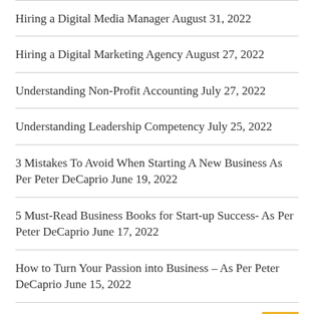Hiring a Digital Media Manager August 31, 2022
Hiring a Digital Marketing Agency August 27, 2022
Understanding Non-Profit Accounting July 27, 2022
Understanding Leadership Competency July 25, 2022
3 Mistakes To Avoid When Starting A New Business As Per Peter DeCaprio June 19, 2022
5 Must-Read Business Books for Start-up Success- As Per Peter DeCaprio June 17, 2022
How to Turn Your Passion into Business – As Per Peter DeCaprio June 15, 2022
3 Business Dos and Don'ts as Per Peter DeCaprio June 3, 2022
4 Things to Consider When Choosing A Life Insurance